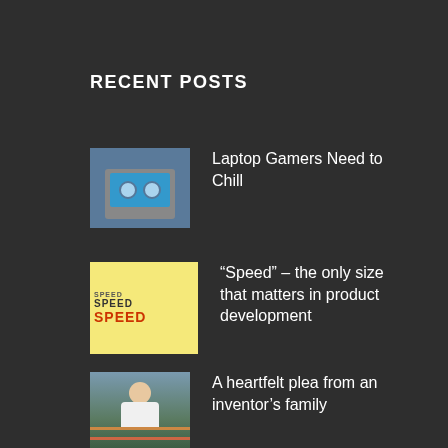RECENT POSTS
Laptop Gamers Need to Chill
“Speed” – the only size that matters in product development
A heartfelt plea from an inventor’s family